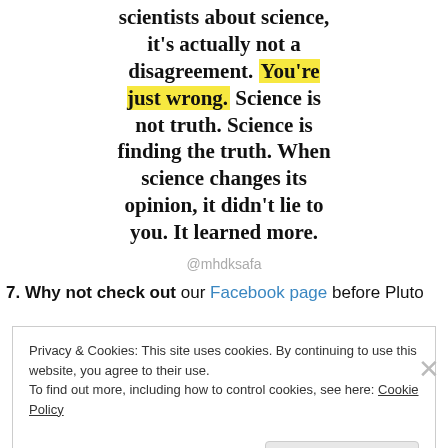scientists about science, it's actually not a disagreement. You're just wrong. Science is not truth. Science is finding the truth. When science changes its opinion, it didn't lie to you. It learned more.
@mhdksafa
7. Why not check out our Facebook page before Pluto
Privacy & Cookies: This site uses cookies. By continuing to use this website, you agree to their use.
To find out more, including how to control cookies, see here: Cookie Policy